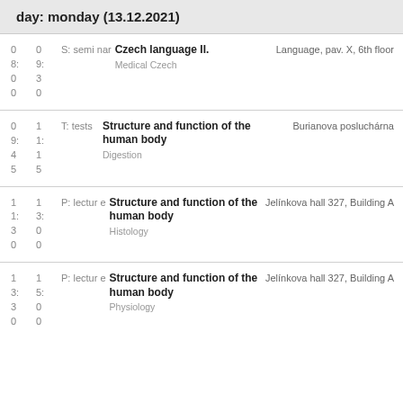day: monday (13.12.2021)
| Start | End | Type | Subject | Location |
| --- | --- | --- | --- | --- |
| 08:00 | 09:30 | S: seminar | Czech language II.
Medical Czech | Language, pav. X, 6th floor |
| 09:45 | 11:15 | T: tests | Structure and function of the human body
Digestion | Burianova posluchárna |
| 11:30 | 13:00 | P: lecture | Structure and function of the human body
Histology | Jelínkova hall 327, Building A |
| 13:30 | 15:00 | P: lecture | Structure and function of the human body
Physiology | Jelínkova hall 327, Building A |